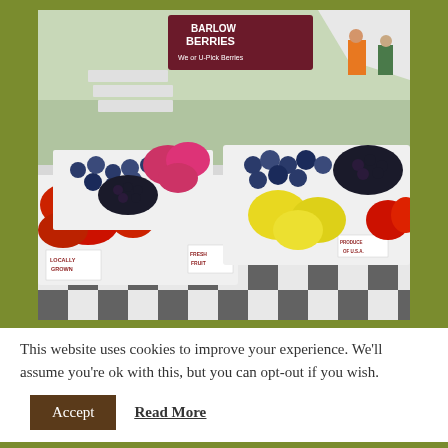[Figure (photo): A farmer's market berry stand showing boxes of strawberries, blueberries, blackberries, raspberries, and yellow fruit on a black-and-white checkered tablecloth. A sign in the background reads 'Barlow Berries - We or U-Pick Berries'. Fruit boxes labeled 'Locally Grown', 'Fresh Fruit', and 'Produce of U.S.A.']
This website uses cookies to improve your experience. We'll assume you're ok with this, but you can opt-out if you wish.
Accept
Read More